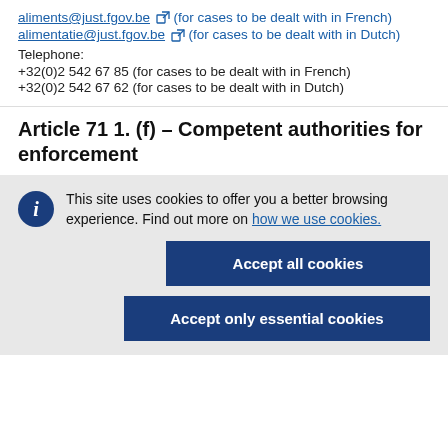aliments@just.fgov.be (for cases to be dealt with in French)
alimentatie@just.fgov.be (for cases to be dealt with in Dutch)
Telephone:
+32(0)2 542 67 85 (for cases to be dealt with in French)
+32(0)2 542 67 62 (for cases to be dealt with in Dutch)
Article 71 1. (f) – Competent authorities for enforcement
This site uses cookies to offer you a better browsing experience. Find out more on how we use cookies.
Accept all cookies
Accept only essential cookies